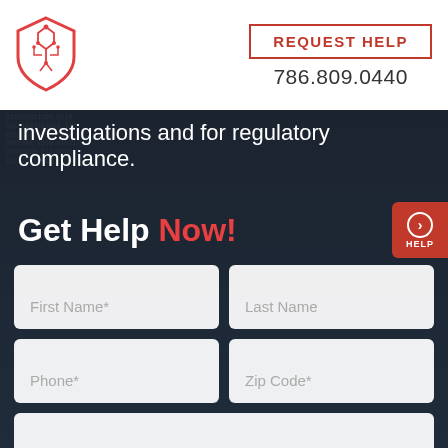[Figure (logo): Red shield logo with circuit/tech design]
REQUEST HELP
786.809.0440
investigations and for regulatory compliance.
Get Help Now!
[Figure (other): Red help button with arrow and HELP label]
First Name*
Last Name
Phone*
Zip Code*
Email*
Click to Text Us!